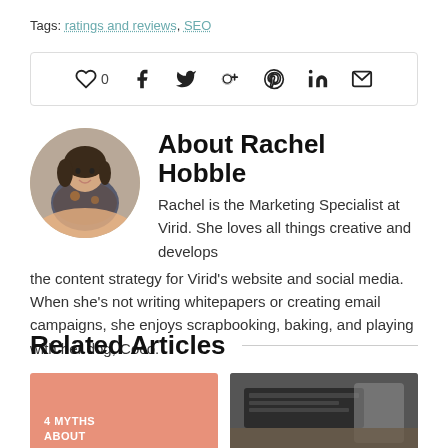Tags: ratings and reviews, SEO
[Figure (infographic): Social sharing bar with heart/like count (0), Facebook, Twitter, Google+, Pinterest, LinkedIn, and email icons]
About Rachel Hobble
[Figure (photo): Circular profile photo of Rachel Hobble, a woman with dark hair wearing a yellow/floral top]
Rachel is the Marketing Specialist at Virid. She loves all things creative and develops the content strategy for Virid's website and social media. When she's not writing whitepapers or creating email campaigns, she enjoys scrapbooking, baking, and playing with her dog, Coco.
Related Articles
[Figure (photo): Salmon/pink colored card with text '4 MYTHS ABOUT']
[Figure (photo): Dark photo showing a laptop on a wooden desk]